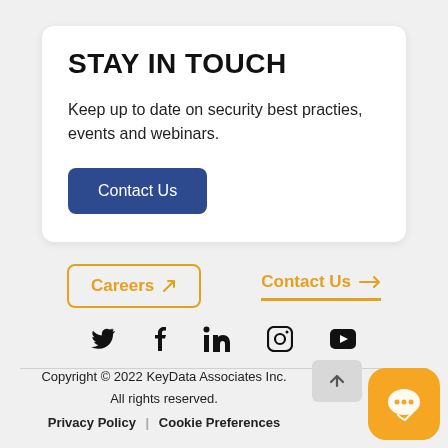STAY IN TOUCH
Keep up to date on security best practies, events and webinars.
Contact Us
Careers ↗
Contact Us →
[Figure (infographic): Social media icons row: Twitter, Facebook, LinkedIn, Instagram, YouTube]
Copyright © 2022 KeyData Associates Inc. All rights reserved.
Privacy Policy   Cookie Preferences